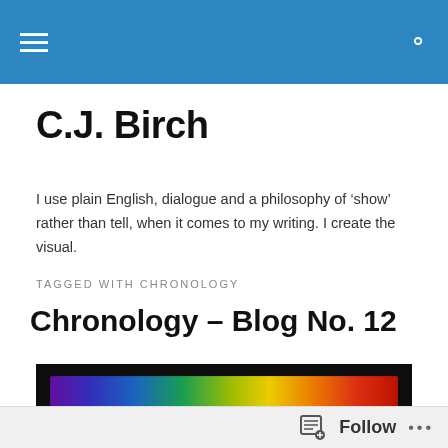C.J. Birch [navigation bar]
C.J. Birch
I use plain English, dialogue and a philosophy of 'show' rather than tell, when it comes to my writing. I create the visual.
TAGGED WITH CHRONOLOGY
Chronology – Blog No. 12
[Figure (photo): Rows of colored crayons/pencils arranged in a rainbow spectrum from purple/violet on the left through blue, green, yellow, orange to red on the right, shot from above on a dark background.]
Follow ...